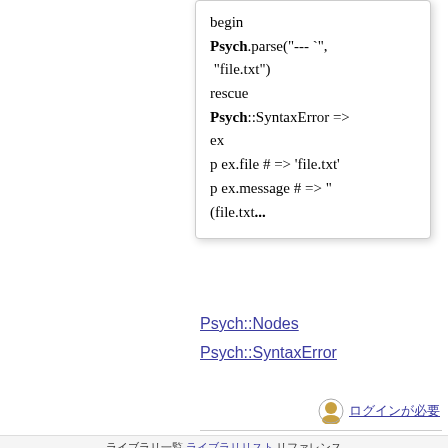begin
Psych.parse("--- `", "file.txt")
rescue
Psych::SyntaxError => ex
p ex.file # => 'file.txt'
p ex.message # => "(file.txt...
Psych::Nodes
Psych::SyntaxError
[user icon] ログインが必要
ライブラリ一覧 ライブラリリスト リファレンス
検索には Groonga 12.0.5 を使用しています。
Groongaを Rroonga 11.0.6 でラップしています。
Powered by Ruby 2.5.5.
フィードバック・ バグ報告 は GitHub まで